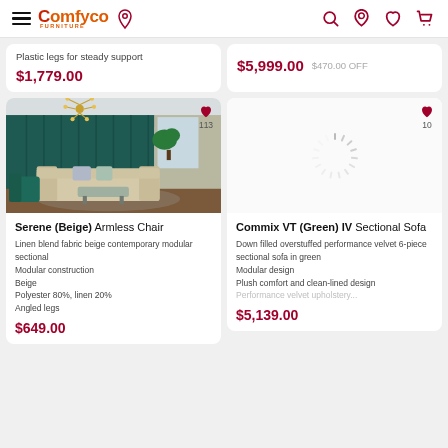Comfyco Furniture
Plastic legs for steady support
$1,779.00
$5,999.00  $470.00 OFF
[Figure (photo): Living room interior with green paneled wall, sputnik chandelier, beige sectional sofa and teal accent chair]
Serene (Beige) Armless Chair
Linen blend fabric beige contemporary modular sectional
Modular construction
Beige
Polyester 80%, linen 20%
Angled legs
$649.00
[Figure (other): Loading spinner graphic on white background]
Commix VT (Green) IV Sectional Sofa
Down filled overstuffed performance velvet 6-piece sectional sofa in green
Modular design
Plush comfort and clean-lined design
Performance velvet upholstery...
$5,139.00